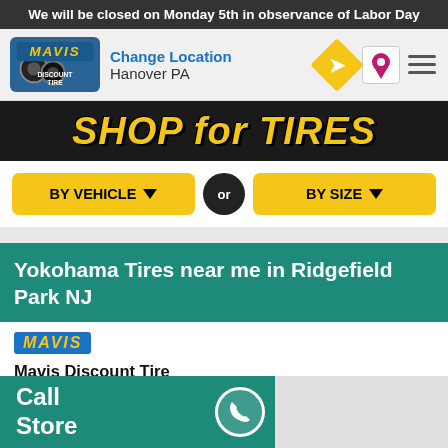We will be closed on Monday 5th in observance of Labor Day
[Figure (screenshot): Mavis Discount Tire logo with navigation bar showing Change Location, Hanover PA, direction icon, map pin icon, and menu icon]
[Figure (screenshot): SHOP FOR TIRES banner in yellow italic text on dark background]
[Figure (screenshot): BY VEHICLE and BY SIZE yellow buttons with OR circle between them]
Yokohama Tires near me in Ridgefield Park NJ
[Figure (logo): MAVIS yellow italic text badge on blue background]
Mavis Discount Tire
67 Route 46 E, Ridgefield Park NJ 07660
201-510-3785
Make My Store    Schedule Appointment
Call Store